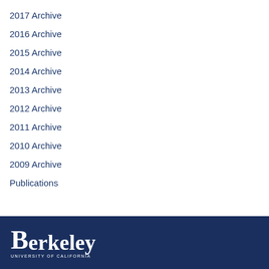2017 Archive
2016 Archive
2015 Archive
2014 Archive
2013 Archive
2012 Archive
2011 Archive
2010 Archive
2009 Archive
Publications
Berkeley University of California